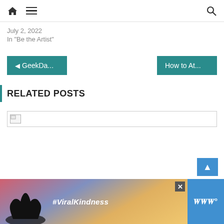Navigation bar with home icon, hamburger menu, and search icon
July 2, 2022
In "Be the Artist"
◄ GeekDa...
How to At...
RELATED POSTS
[Figure (photo): Broken image placeholder]
[Figure (photo): Advertisement banner showing silhouette of hands forming a heart shape against a colorful sunset sky, with text #ViralKindness and a logo on the right]